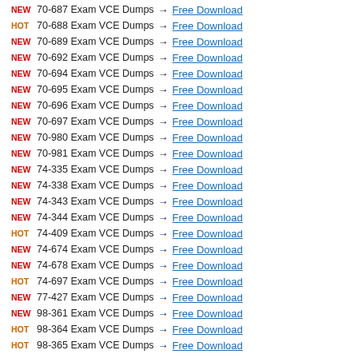NEW 70-687 Exam VCE Dumps → Free Download
HOT 70-688 Exam VCE Dumps → Free Download
NEW 70-689 Exam VCE Dumps → Free Download
NEW 70-692 Exam VCE Dumps → Free Download
NEW 70-694 Exam VCE Dumps → Free Download
NEW 70-695 Exam VCE Dumps → Free Download
NEW 70-696 Exam VCE Dumps → Free Download
NEW 70-697 Exam VCE Dumps → Free Download
NEW 70-980 Exam VCE Dumps → Free Download
NEW 70-981 Exam VCE Dumps → Free Download
NEW 74-335 Exam VCE Dumps → Free Download
NEW 74-338 Exam VCE Dumps → Free Download
NEW 74-343 Exam VCE Dumps → Free Download
NEW 74-344 Exam VCE Dumps → Free Download
HOT 74-409 Exam VCE Dumps → Free Download
NEW 74-674 Exam VCE Dumps → Free Download
NEW 74-678 Exam VCE Dumps → Free Download
HOT 74-697 Exam VCE Dumps → Free Download
NEW 77-427 Exam VCE Dumps → Free Download
NEW 98-361 Exam VCE Dumps → Free Download
HOT 98-364 Exam VCE Dumps → Free Download
HOT 98-365 Exam VCE Dumps → Free Download